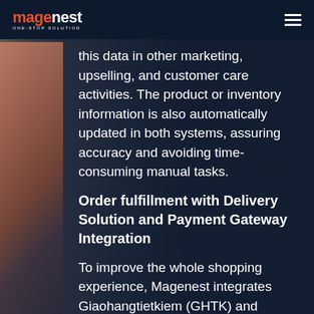magenest ONE-STOP SOLUTION
this data in other marketing, upselling, and customer care activities. The product or inventory information is also automatically updated in both systems, assuring accuracy and avoiding time-consuming manual tasks.
Order fulfillment with Delivery Solution and Payment Gateway Integration
To improve the whole shopping experience, Magenest integrates Giaohangtietkiem (GHTK) and Viettel Post shipping services as well as VNPT EPAY payment gateway into Kangaroo's Magento system. The purchase invoice is...